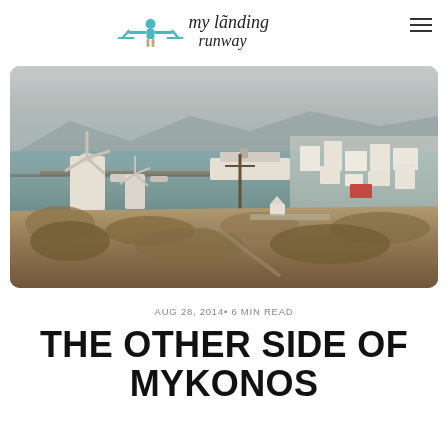my landing runway
[Figure (photo): Aerial view of Mykonos island showing whitewashed buildings, windmills in the foreground, a harbor with cruise ships, and the sea in the background during golden hour.]
AUG 28, 2014• 6 MIN READ
THE OTHER SIDE OF MYKONOS